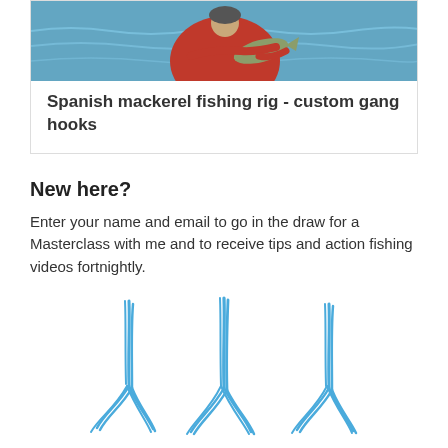[Figure (photo): A person in a red jacket holding a fish over the ocean, cropped at the top of the card.]
Spanish mackerel fishing rig - custom gang hooks
New here?
Enter your name and email to go in the draw for a Masterclass with me and to receive tips and action fishing videos fortnightly.
[Figure (illustration): Three hand-drawn blue arrow illustrations pointing downward, arranged horizontally.]